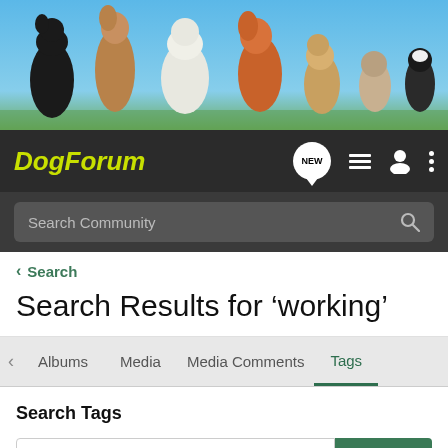[Figure (photo): Banner photo of multiple dog breeds standing together against a blue sky background]
DogForum
Search Community
< Search
Search Results for ‘working’
Albums   Media   Media Comments   Tags
Search Tags
working